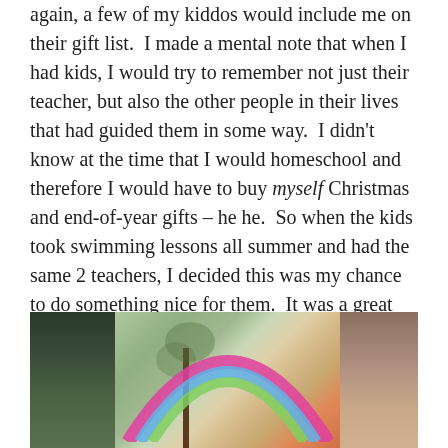again, a few of my kiddos would include me on their gift list.  I made a mental note that when I had kids, I would try to remember not just their teacher, but also the other people in their lives that had guided them in some way.  I didn't know at the time that I would homeschool and therefore I would have to buy myself Christmas and end-of-year gifts – he he.  So when the kids took swimming lessons all summer and had the same 2 teachers, I decided this was my chance to do something nice for them.  It was a great excuse to turn my new Belle fabric into (what else?) a purse!
[Figure (photo): Outdoor photo showing trees, greenery, and a colorful rainbow arc sculpture against a backdrop of bare trees and sky]